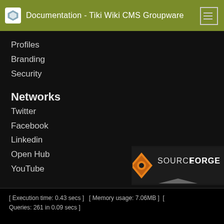Documentation - Tiki Wiki CMS Groupware
Profiles
Branding
Security
Networks
Twitter
Facebook
Linkedin
Open Hub
YouTube
Tiki® and TikiWiki® are registered trademarks of the Tiki Software Community Association.
[Figure (logo): SourceForge logo with orange diamond/gear icon and SOURCEFORGE text]
[ Execution time: 0.43 secs ]  [ Memory usage: 7.06MB ]  [ Queries: 261 in 0.09 secs ]